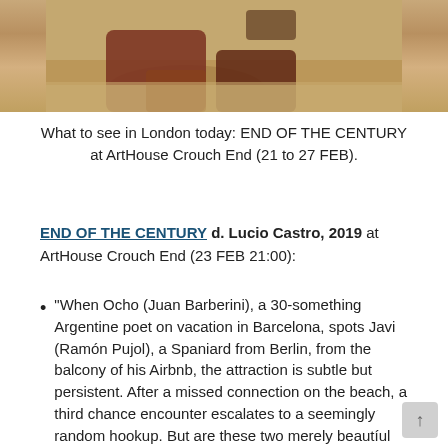[Figure (photo): Two people lying on a sandy beach, one wearing dark red/maroon swimwear, partially visible from waist down]
What to see in London today: END OF THE CENTURY at ArtHouse Crouch End (21 to 27 FEB).
END OF THE CENTURY d. Lucio Castro, 2019 at ArtHouse Crouch End (23 FEB 21:00):
“When Ocho (Juan Barberini), a 30-something Argentine poet on vacation in Barcelona, spots Javi (Ramón Pujol), a Spaniard from Berlin, from the balcony of his Airbnb, the attraction is subtle but persistent. After a missed connection on the beach, a third chance encounter escalates to a seemingly random hookup. But are these two merely beautiful strangers in a foreign city or are they part of each other’s histories-and maybe even their destinies?”